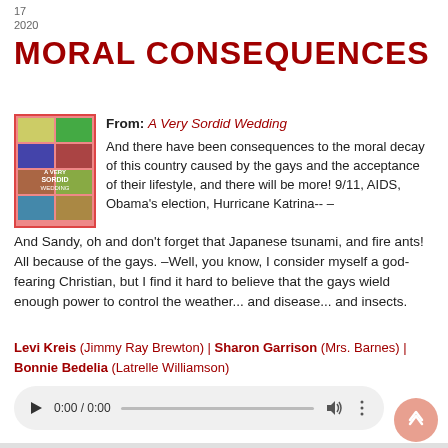17
2020
MORAL CONSEQUENCES
From: A Very Sordid Wedding
And there have been consequences to the moral decay of this country caused by the gays and the acceptance of their lifestyle, and there will be more! 9/11, AIDS, Obama's election, Hurricane Katrina-- – And Sandy, oh and don't forget that Japanese tsunami, and fire ants! All because of the gays. –Well, you know, I consider myself a god-fearing Christian, but I find it hard to believe that the gays wield enough power to control the weather... and disease... and insects.
Levi Kreis (Jimmy Ray Brewton) | Sharon Garrison (Mrs. Barnes) | Bonnie Bedelia (Latrelle Williamson)
[Figure (screenshot): Audio player control showing 0:00 / 0:00 with play button, progress bar, volume and more options icons]